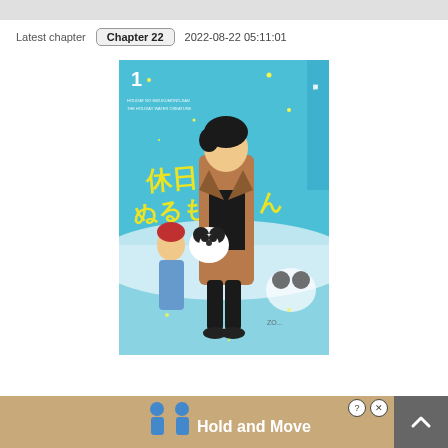Latest chapter   Chapter 22   2022-08-22 05:11:01
[Figure (illustration): Manga volume 1 cover art showing a tall young man in a brown coat holding a panda cub, with a red-haired girl behind him and zoo background with another panda. Japanese text title on the cover.]
[Figure (screenshot): Advertisement banner with tan/brown background showing blue figure icons and text 'Hold and Move'. Has a question mark button and close (X) button in top right corner.]